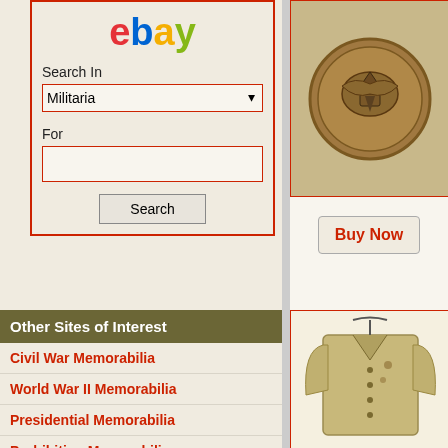[Figure (screenshot): eBay logo at the top of a search panel]
Search In
Militaria (dropdown)
For
Search (button)
Other Sites of Interest
Civil War Memorabilia
World War II Memorabilia
Presidential Memorabilia
Prohibition Memorabilia
Antique CDV Photos
Firefighting Memorabilia
[Figure (photo): Circular bronze military button/coin with eagle emblem]
Buy Now
[Figure (photo): Military jacket (tan/khaki) on a hanger]